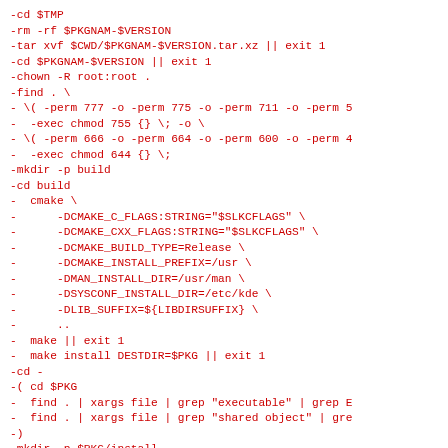-cd $TMP
-rm -rf $PKGNAM-$VERSION
-tar xvf $CWD/$PKGNAM-$VERSION.tar.xz || exit 1
-cd $PKGNAM-$VERSION || exit 1
-chown -R root:root .
-find . \
- \( -perm 777 -o -perm 775 -o -perm 711 -o -perm 5
-  -exec chmod 755 {} \; -o \
- \( -perm 666 -o -perm 664 -o -perm 600 -o -perm 4
-  -exec chmod 644 {} \;
-mkdir -p build
-cd build
-  cmake \
-      -DCMAKE_C_FLAGS:STRING="$SLKCFLAGS" \
-      -DCMAKE_CXX_FLAGS:STRING="$SLKCFLAGS" \
-      -DCMAKE_BUILD_TYPE=Release \
-      -DCMAKE_INSTALL_PREFIX=/usr \
-      -DMAN_INSTALL_DIR=/usr/man \
-      -DSYSCONF_INSTALL_DIR=/etc/kde \
-      -DLIB_SUFFIX=${LIBDIRSUFFIX} \
-      ..
-  make || exit 1
-  make install DESTDIR=$PKG || exit 1
-cd -
-( cd $PKG
-  find . | xargs file | grep "executable" | grep E
-  find . | xargs file | grep "shared object" | gre
-)
-mkdir -p $PKG/install
-cat $CWD/slack-desc/slack-desc.calligra-l10n-$PKGL